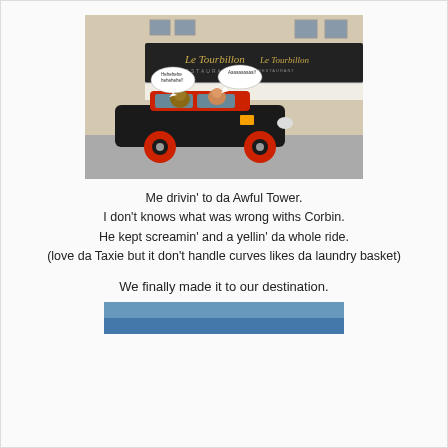[Figure (photo): A vintage black taxi car with red wheels and roof driving in front of Le Tourbillon restaurant in Paris. Two animal characters (dogs/pigs) visible in the car with speech bubbles saying 'Hehehehe hehehehe!!' and 'Aaaaaaaaaa!!']
Me drivin' to da Awful Tower.
I don't knows what was wrong withs Corbin.
He kept screamin' and a yellin' da whole ride.
(love da Taxie but it don't handle curves likes da laundry basket)
We finally made it to our destination.
[Figure (photo): Partial bottom image of destination (cut off at bottom of page)]